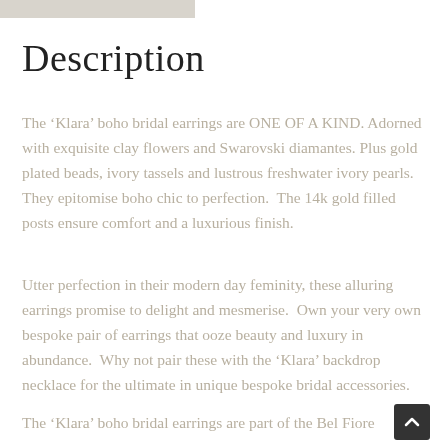Description
The ‘Klara’ boho bridal earrings are ONE OF A KIND. Adorned with exquisite clay flowers and Swarovski diamantes. Plus gold plated beads, ivory tassels and lustrous freshwater ivory pearls. They epitomise boho chic to perfection.  The 14k gold filled posts ensure comfort and a luxurious finish.
Utter perfection in their modern day feminity, these alluring earrings promise to delight and mesmerise.  Own your very own bespoke pair of earrings that ooze beauty and luxury in abundance.  Why not pair these with the ‘Klara’ backdrop necklace for the ultimate in unique bespoke bridal accessories.
The ‘Klara’ boho bridal earrings are part of the Bel Fiore